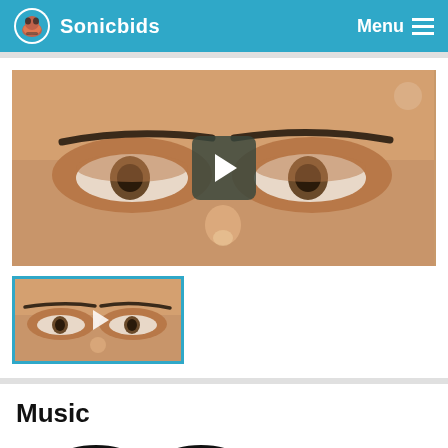Sonicbids   Menu
[Figure (screenshot): Main video player showing close-up of a person's eyes and forehead, with a dark rounded-square play button overlay in the center]
[Figure (screenshot): Thumbnail of same video with blue border and small play triangle overlay]
Music
[Figure (illustration): Partial headphone icons at bottom of page]